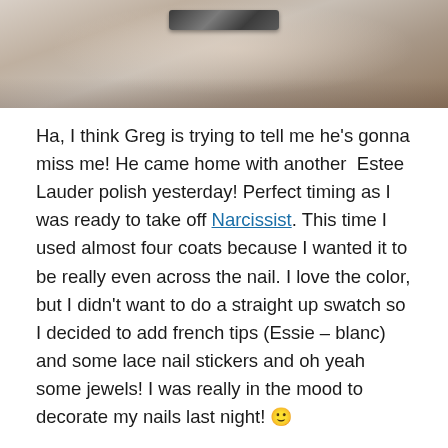[Figure (photo): Close-up photo of a hand holding a dark nail polish bottle, cropped to show just the top portion]
Ha, I think Greg is trying to tell me he's gonna miss me! He came home with another Estee Lauder polish yesterday! Perfect timing as I was ready to take off Narcissist. This time I used almost four coats because I wanted it to be really even across the nail. I love the color, but I didn't want to do a straight up swatch so I decided to add french tips (Essie – blanc) and some lace nail stickers and oh yeah some jewels! I was really in the mood to decorate my nails last night! 🙂
Sheets of these lace stickers are on sale in most beauty stores here in Seoul, I love them! Tonight I'm heading out for dinner and a few drinks so I'm glad I have girly nails for the occasion! 🙂